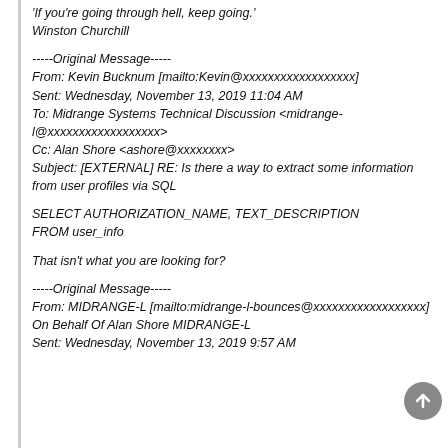'If you're going through hell, keep going.'
Winston Churchill
-----Original Message-----
From: Kevin Bucknum [mailto:Kevin@xxxxxxxxxxxxxxxxxx]
Sent: Wednesday, November 13, 2019 11:04 AM
To: Midrange Systems Technical Discussion <midrange-l@xxxxxxxxxxxxxxxxxx>
Cc: Alan Shore <ashore@xxxxxxxx>
Subject: [EXTERNAL] RE: Is there a way to extract some information from user profiles via SQL
SELECT AUTHORIZATION_NAME, TEXT_DESCRIPTION
FROM user_info
That isn't what you are looking for?
-----Original Message-----
From: MIDRANGE-L [mailto:midrange-l-bounces@xxxxxxxxxxxxxxxxxx] On Behalf Of Alan Shore MIDRANGE-L
Sent: Wednesday, November 13, 2019 9:57 AM